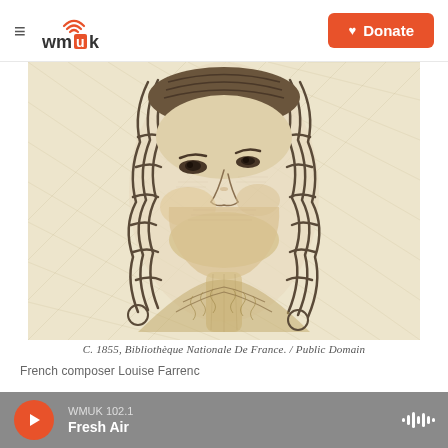wmuk | Donate
[Figure (illustration): A vintage engraving portrait of French composer Louise Farrenc, circa 1855. The image shows a woman with long braided hair, facing slightly to the side, rendered in fine crosshatched engraving style typical of the 19th century.]
C. 1855, Bibliothèque Nationale De France.  /  Public Domain
French composer Louise Farrenc
Members of the woodwind group the Arcadia Winds and the piano trio known as Trio Des Amis decided to combine the groups to form the Arcadia
WMUK 102.1  Fresh Air